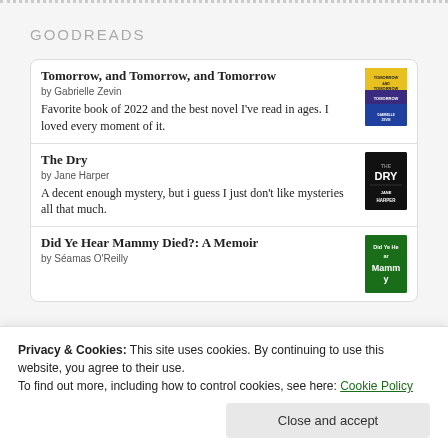GOODREADS
Tomorrow, and Tomorrow, and Tomorrow by Gabrielle Zevin — Favorite book of 2022 and the best novel I've read in ages. I loved every moment of it.
The Dry by Jane Harper — A decent enough mystery, but i guess I just don't like mysteries all that much.
Did Ye Hear Mammy Died?: A Memoir by Séamas O'Reilly
Privacy & Cookies: This site uses cookies. By continuing to use this website, you agree to their use.
To find out more, including how to control cookies, see here: Cookie Policy